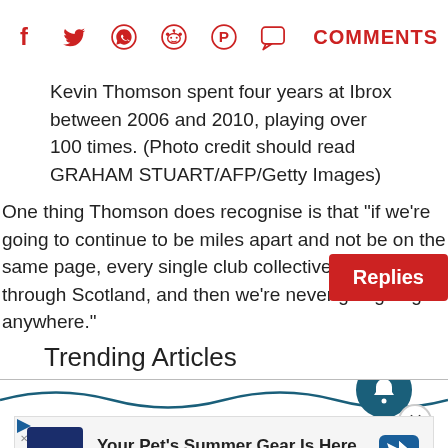[Figure (infographic): Social sharing bar with icons: Facebook, Twitter, WhatsApp, Reddit, Pinterest, Comments bubble, and COMMENTS label in red]
Kevin Thomson spent four years at Ibrox between 2006 and 2010, playing over 100 times. (Photo credit should read GRAHAM STUART/AFP/Getty Images)
One thing Thomson does recognise is that “if we’re going to continue to be miles apart and not be on the same page, every single club collectively right through Scotland, and then we’re never going to get anywhere.”
Trending Articles
[Figure (screenshot): Petco advertisement banner: Your Pet's Summer Gear Is Here, Petco]